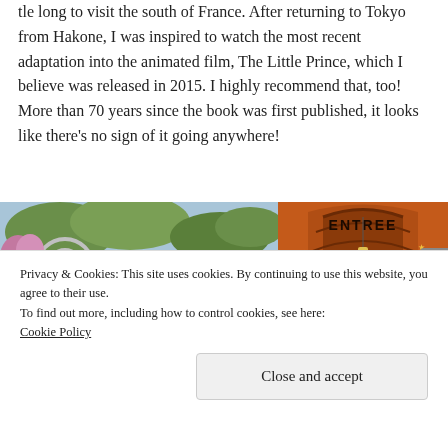tle long to visit the south of France. After returning to Tokyo from Hakone, I was inspired to watch the most recent adaptation into the animated film, The Little Prince, which I believe was released in 2015. I highly recommend that, too! More than 70 years since the book was first published, it looks like there's no sign of it going anywhere!
[Figure (photo): Two photos side by side: left shows an outdoor Little Prince themed exhibit with a sign and sculpture; right shows an orange arched entrance labeled ENTREE]
Privacy & Cookies: This site uses cookies. By continuing to use this website, you agree to their use.
To find out more, including how to control cookies, see here:
Cookie Policy
Close and accept